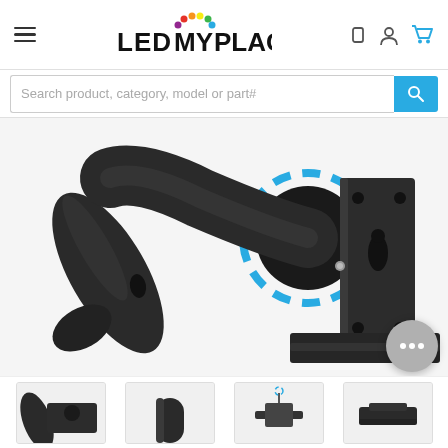LEDMyPlace navigation header with hamburger menu, logo, and icons
Search product, category, model or part#
[Figure (photo): Close-up of a black metal arm/bracket accessory for LED high bay light, showing a cylindrical tube connector with blue dashed circle indicator and a flat mounting plate with slots and holes, photographed on white background]
[Figure (photo): Four product thumbnail images at the bottom: two black cylindrical arm accessories, one bracket with wiring diagram, and one flat mounting bracket]
[Figure (other): Chat widget button (grey circle with ellipsis)]